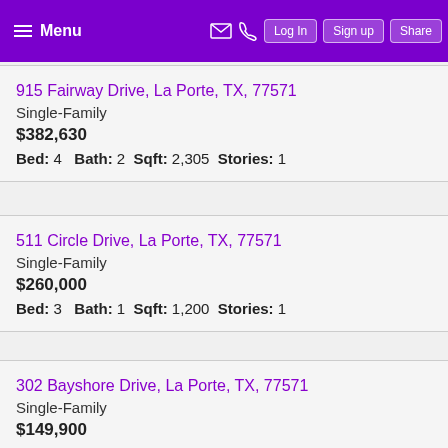Menu  Log In  Sign up  Share
915 Fairway Drive, La Porte, TX, 77571
Single-Family
$382,630
Bed: 4   Bath: 2   Sqft: 2,305   Stories: 1
511 Circle Drive, La Porte, TX, 77571
Single-Family
$260,000
Bed: 3   Bath: 1   Sqft: 1,200   Stories: 1
302 Bayshore Drive, La Porte, TX, 77571
Single-Family
$149,900
Bed: 1   Bath: 1   Sqft: 849   Stories: 1